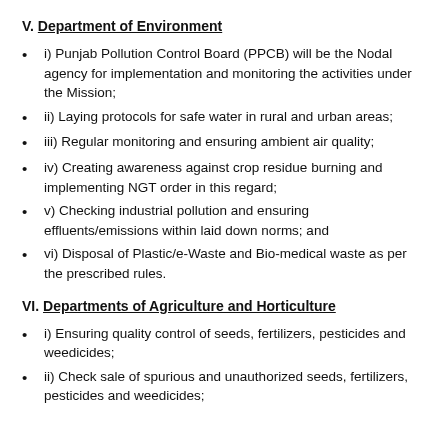V. Department of Environment
i) Punjab Pollution Control Board (PPCB) will be the Nodal agency for implementation and monitoring the activities under the Mission;
ii) Laying protocols for safe water in rural and urban areas;
iii) Regular monitoring and ensuring ambient air quality;
iv) Creating awareness against crop residue burning and implementing NGT order in this regard;
v) Checking industrial pollution and ensuring effluents/emissions within laid down norms; and
vi) Disposal of Plastic/e-Waste and Bio-medical waste as per the prescribed rules.
VI. Departments of Agriculture and Horticulture
i) Ensuring quality control of seeds, fertilizers, pesticides and weedicides;
ii) Check sale of spurious and unauthorized seeds, fertilizers, pesticides and weedicides;